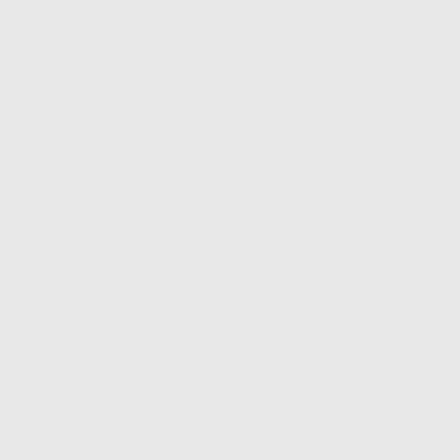of nothing short of twenty-four-
Read More About Our Comme
[Figure (other): Light blue promotional box containing text: Free, Emergency E, Emergency]
Industrial Electricia